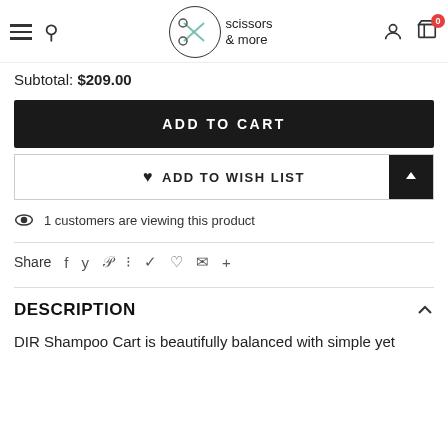scissors & more — navigation header with hamburger, search, logo, account, cart (0)
Subtotal: $209.00
ADD TO CART
♥ ADD TO WISH LIST
1 customers are viewing this product
Share
DESCRIPTION
DIR Shampoo Cart is beautifully balanced with simple yet